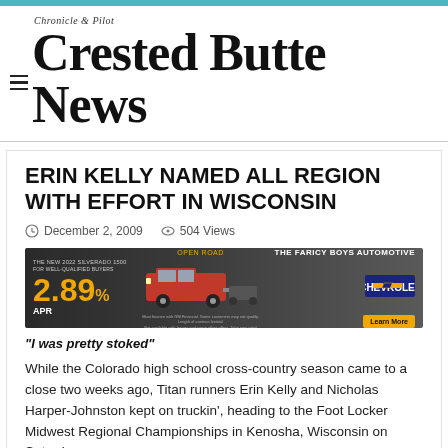Chronicle & Pilot — Crested Butte News
ERIN KELLY NAMED ALL REGION WITH EFFORT IN WISCONSIN
December 2, 2009   504 Views
[Figure (photo): Advertisement for The Faricy Boys Automotive featuring the new 2022 Silverado 1500 with 2.89% APR for well-qualified buyers, Chevy Open Road branding, and a red truck towing a boat.]
“I was pretty stoked”
While the Colorado high school cross-country season came to a close two weeks ago, Titan runners Erin Kelly and Nicholas Harper-Johnston kept on truckin’, heading to the Foot Locker Midwest Regional Championships in Kenosha, Wisconsin on Saturday.